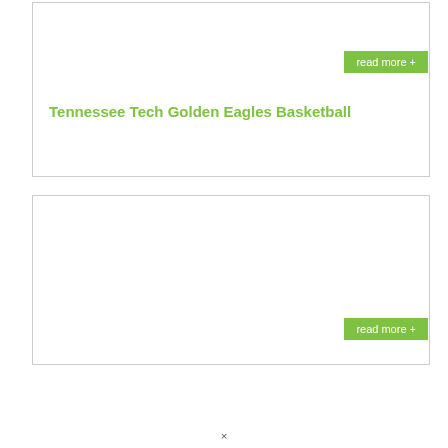Tennessee Tech Golden Eagles Basketball
read more +
read more +
×